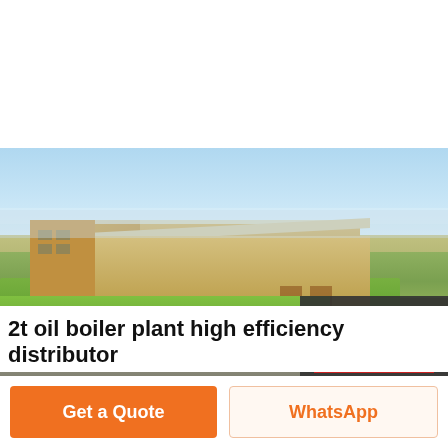[Figure (photo): Aerial view of large industrial facility / manufacturing plant with long warehouse buildings, green lawn area, surrounding roads, and blue sky. A dark sidebar with Chat, Email, and Contact icons overlays the right side of the photo.]
2t oil boiler plant high efficiency distributor
Get a Quote
WhatsApp